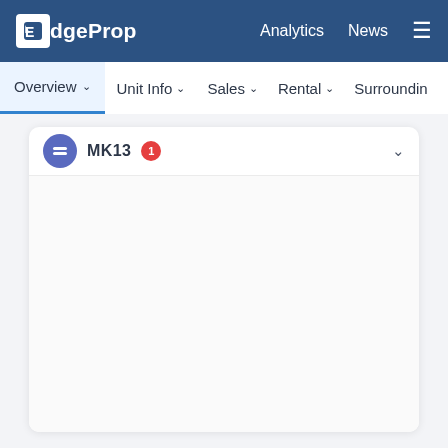EdgeProp | Analytics | News
Overview | Unit Info | Sales | Rental | Surrounding
[Figure (screenshot): A card UI element with a purple avatar icon, text 'MK13', a red notification badge, and a dropdown arrow, followed by empty white content area below.]